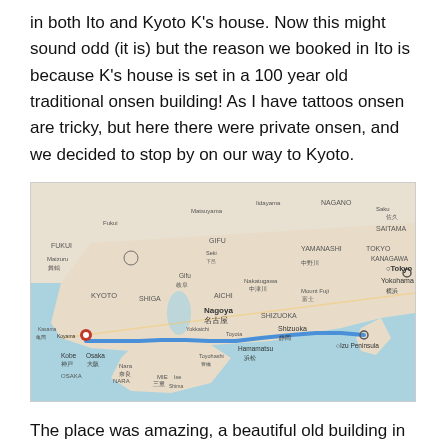in both Ito and Kyoto K's house. Now this might sound odd (it is) but the reason we booked in Ito is because K's house is set in a 100 year old traditional onsen building! As I have tattoos onsen are tricky, but here there were private onsen, and we decided to stop by on our way to Kyoto.
[Figure (map): Google Maps screenshot showing a blue route line from Tokyo/Izu Peninsula area on the right, westward along the southern coast of Honshu through Shizuoka, Hamamatsu, Nagoya, to Kyoto on the left. A red location pin marks Kyoto. Labels visible include Tokyo, Yokohama, SAITAMA, TOKYO, KANAGAWA, YAMANASHI, Mount Fuji, Izu Peninsula, SHIZUOKA, Shizuoka, AICHI, Nagoya/名古屋, Toyota, Yokkaichi, Toyohashi, Hamamatsu/浜松, GIFU, Gifu, SHIGA, KYOTO, Kyoto, Osaka/大阪, Kobe/神戸, Nara, NARA, MIE/三重, OSAKA, Maizuru, Fukui, FUKUI, NAGANO, Saku, and others.]
The place was amazing, a beautiful old building in a quite little town near the coast on the Izu peninsular.